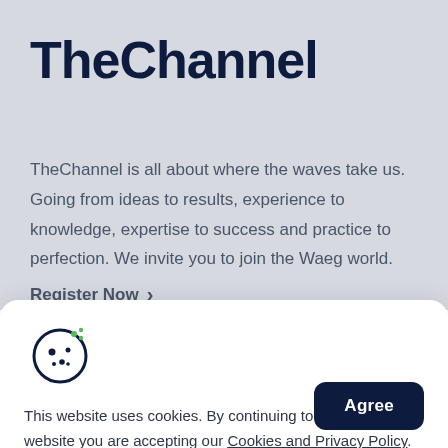TheChannel
TheChannel is all about where the waves take us. Going from ideas to results, experience to knowledge, expertise to success and practice to perfection. We invite you to join the Waeg world.
Register Now →
[Figure (illustration): Cookie icon: a circular cookie with dots, with small green dots in the upper right area]
This website uses cookies. By continuing to browse the website you are accepting our Cookies and Privacy Policy.
Agree